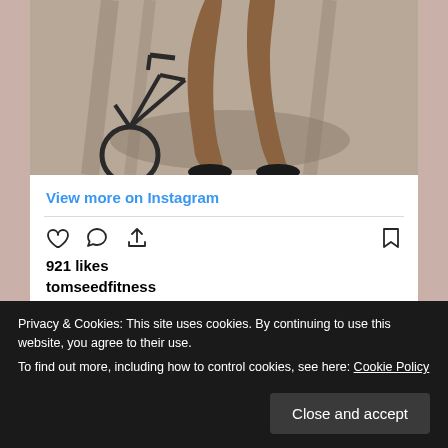[Figure (photo): Close-up photo of muscular legs next to a bicycle on pavement with shadows]
View more on Instagram
921 likes
tomseedfitness
Want big calves? Then jump on a cycle... 🚴🏽 #fullnatty
Privacy & Cookies: This site uses cookies. By continuing to use this website, you agree to their use.
To find out more, including how to control cookies, see here: Cookie Policy